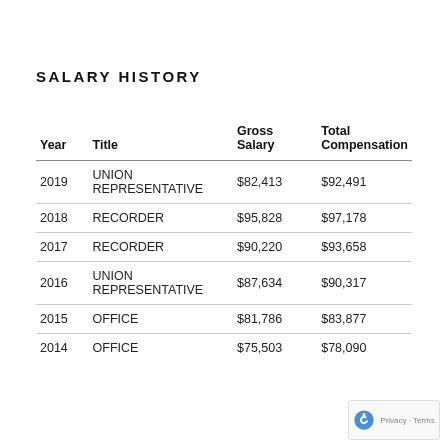SALARY HISTORY
| Year | Title | Gross
Salary | Total
Compensation |
| --- | --- | --- | --- |
| 2019 | UNION REPRESENTATIVE | $82,413 | $92,491 |
| 2018 | RECORDER | $95,828 | $97,178 |
| 2017 | RECORDER | $90,220 | $93,658 |
| 2016 | UNION REPRESENTATIVE | $87,634 | $90,317 |
| 2015 | OFFICE | $81,786 | $83,877 |
| 2014 | OFFICE | $75,503 | $78,090 |